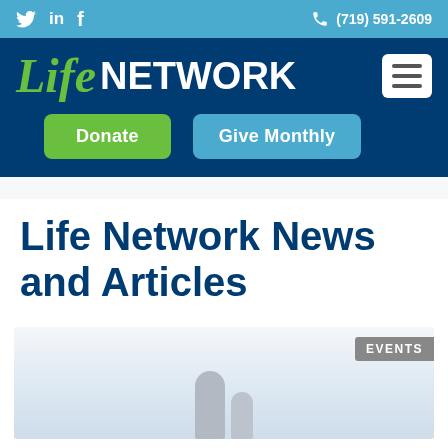Twitter LinkedIn Facebook (719) 591-2609
[Figure (logo): Life Network logo with italic green 'Life' and bold white 'NETWORK' text on dark blue background, with green Donate button and blue Give Monthly button]
Life Network News and Articles
[Figure (photo): Photo of two people (adult and child) viewed from behind, looking out a bright window, with an 'EVENTS' badge overlay in the top right corner]